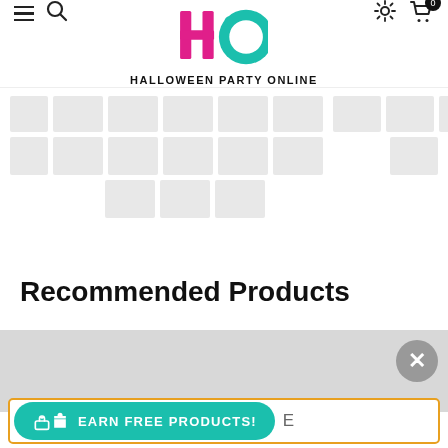[Figure (logo): Halloween Party Online logo with stylized HPO letters in pink and teal, with text HALLOWEEN PARTY ONLINE below]
[Figure (screenshot): Skeleton loading placeholder grid with grey boxes arranged in 3 rows]
Recommended Products
[Figure (screenshot): Grey loading area with close (X) button on right]
SIGN UP
EARN FREE PRODUCTS!